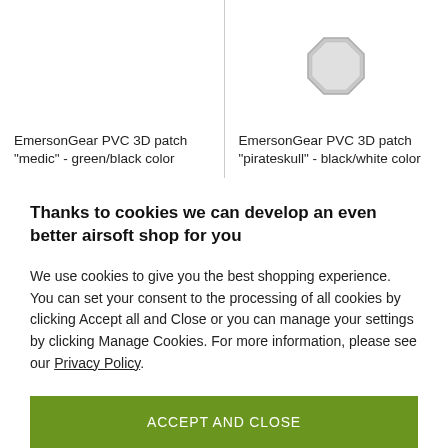EmersonGear PVC 3D patch "medic" - green/black color
EmersonGear PVC 3D patch "pirateskull" - black/white color
Thanks to cookies we can develop an even better airsoft shop for you
We use cookies to give you the best shopping experience. You can set your consent to the processing of all cookies by clicking Accept all and Close or you can manage your settings by clicking Manage Cookies. For more information, please see our Privacy Policy.
ACCEPT AND CLOSE
MANAGE COOKIES